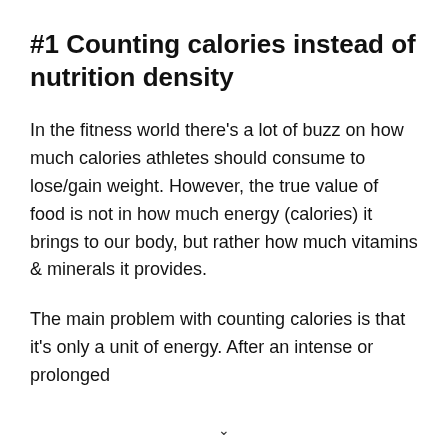#1 Counting calories instead of nutrition density
In the fitness world there's a lot of buzz on how much calories athletes should consume to lose/gain weight. However, the true value of food is not in how much energy (calories) it brings to our body, but rather how much vitamins & minerals it provides.
The main problem with counting calories is that it's only a unit of energy. After an intense or prolonged